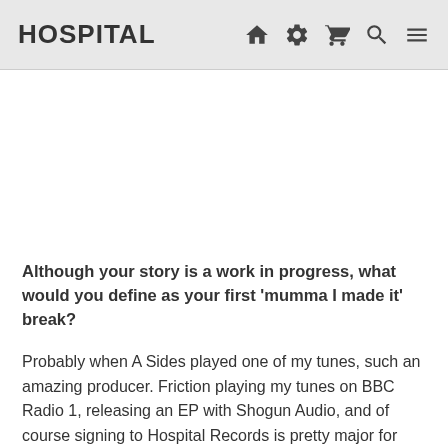HOSPITAL
Although your story is a work in progress, what would you define as your first ‘mumma I made it’ break?
Probably when A Sides played one of my tunes, such an amazing producer. Friction playing my tunes on BBC Radio 1, releasing an EP with Shogun Audio, and of course signing to Hospital Records is pretty major for me! I’ve also been recently working with an artist